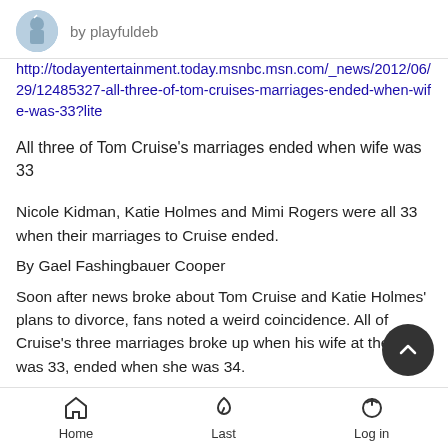by playfuldeb
http://todayentertainment.today.msnbc.msn.com/_news/2012/06/29/12485327-all-three-of-tom-cruises-marriages-ended-when-wife-was-33?lite
All three of Tom Cruise's marriages ended when wife was 33
Nicole Kidman, Katie Holmes and Mimi Rogers were all 33 when their marriages to Cruise ended.
By Gael Fashingbauer Cooper
Soon after news broke about Tom Cruise and Katie Holmes' plans to divorce, fans noted a weird coincidence. All of Cruise's three marriages broke up when his wife at the time was 33, ended when she was 34.
Home   Last   Log in